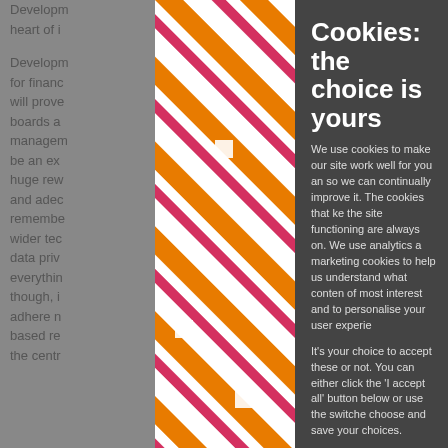Developm... heart of i...
Developm... for financ... will prove... boards a... managem... be an ex... huge rew... and adec... remembe... wider tec... data priv... everythin... though, i... adhere n... based re... the centr...
[Figure (illustration): Diagonal stripe pattern decoration in orange, red/pink, and white colors]
Cookies: the choice is yours
We use cookies to make our site work well for you an so we can continually improve it. The cookies that ke the site functioning are always on. We use analytics a marketing cookies to help us understand what conten of most interest and to personalise your user experie
It's your choice to accept these or not. You can either click the 'I accept all' button below or use the switche choose and save your choices.
For detailed information on how we use cookies a other tracking technologies, please visit our cook information page